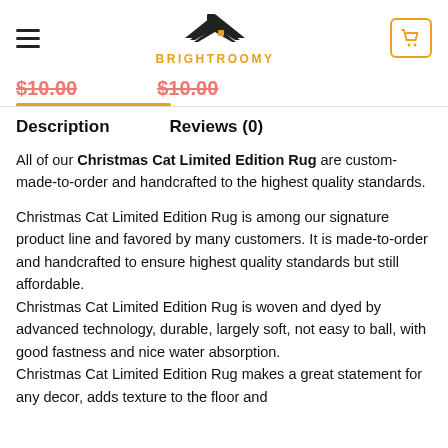BRIGHTROOMY
$10.00   $10.00
Description   Reviews (0)
All of our Christmas Cat Limited Edition Rug are custom-made-to-order and handcrafted to the highest quality standards.
Christmas Cat Limited Edition Rug is among our signature product line and favored by many customers. It is made-to-order and handcrafted to ensure highest quality standards but still affordable. Christmas Cat Limited Edition Rug is woven and dyed by advanced technology, durable, largely soft, not easy to ball, with good fastness and nice water absorption. Christmas Cat Limited Edition Rug makes a great statement for any decor, adds texture to the floor and